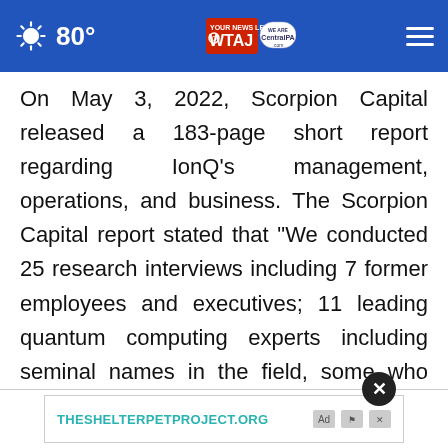80° WTAJ CentralPA.com
On May 3, 2022, Scorpion Capital released a 183-page short report regarding IonQ's management, operations, and business. The Scorpion Capital report stated that “We conducted 25 research interviews including 7 former employees and executives; 11 leading quantum computing experts including seminal names in the field, some who have published papers with IonQ’s founders and are intimately familiar with its technology; and 5 of its key “customers… our
[Figure (other): Advertisement banner for THESHELTERPETPROJECT.ORG with close button overlay]